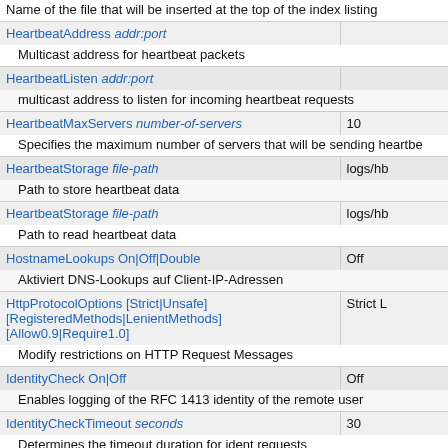| Directive | Default |
| --- | --- |
| Name of the file that will be inserted at the top of the index listing |  |
| HeartbeatAddress addr:port |  |
| Multicast address for heartbeat packets |  |
| HeartbeatListen addr:port |  |
| multicast address to listen for incoming heartbeat requests |  |
| HeartbeatMaxServers number-of-servers | 10 |
| Specifies the maximum number of servers that will be sending heartbe... |  |
| HeartbeatStorage file-path | logs/hb... |
| Path to store heartbeat data |  |
| HeartbeatStorage file-path | logs/hb... |
| Path to read heartbeat data |  |
| HostnameLookups On|Off|Double | Off |
| Aktiviert DNS-Lookups auf Client-IP-Adressen |  |
| HttpProtocolOptions [Strict|Unsafe] [RegisteredMethods|LenientMethods] [Allow0.9|Require1.0] | Strict L... |
| Modify restrictions on HTTP Request Messages |  |
| IdentityCheck On|Off | Off |
| Enables logging of the RFC 1413 identity of the remote user |  |
| IdentityCheckTimeout seconds | 30 |
| Determines the timeout duration for ident requests |  |
| <If expression> ... </If> |  |
| Contains directives that apply only if a condition is satisfied by a reque... |  |